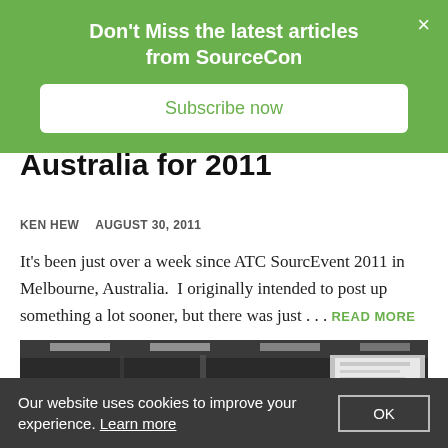Don't Miss the latest articles from SourceCon
Subscribe now
Australia for 2011
KEN HEW   AUGUST 30, 2011
It's been just over a week since ATC SourcEvent 2011 in Melbourne, Australia.  I originally intended to post up something a lot sooner, but there was just . . . READ MORE
[Figure (photo): Conference room photo showing attendees seated and a presenter near a projection screen displaying content]
Our website uses cookies to improve your experience. Learn more